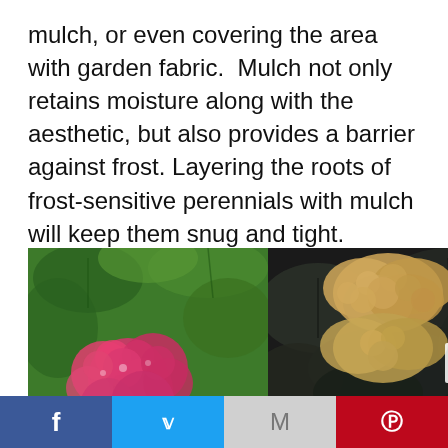mulch, or even covering the area with garden fabric.  Mulch not only retains moisture along with the aesthetic, but also provides a barrier against frost. Layering the roots of frost-sensitive perennials with mulch will keep them snug and tight.
[Figure (photo): Two side-by-side garden photos: left shows a vibrant pink hydrangea bloom surrounded by large green leaves; right shows dried/dead tan/brown hydrangea blooms against dark green-gray leaves, with a play button triangle overlay in the lower right.]
Social share bar with Facebook, Twitter, Gmail/Email, and Pinterest buttons